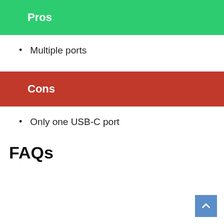Pros
Multiple ports
Cons
Only one USB-C port
FAQs